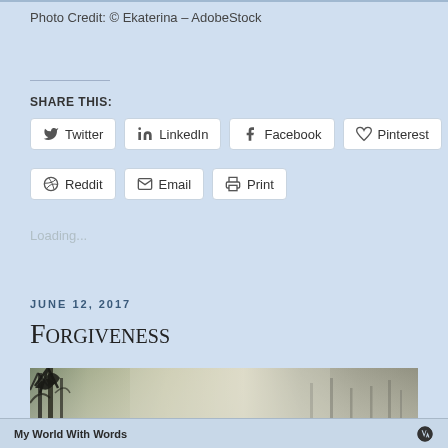Photo Credit: © Ekaterina – AdobeStock
Share This:
Twitter
LinkedIn
Facebook
Pinterest
Reddit
Email
Print
Loading...
JUNE 12, 2017
Forgiveness
[Figure (photo): Foggy forest scene with bare trees silhouetted against a misty light background]
My World With Words